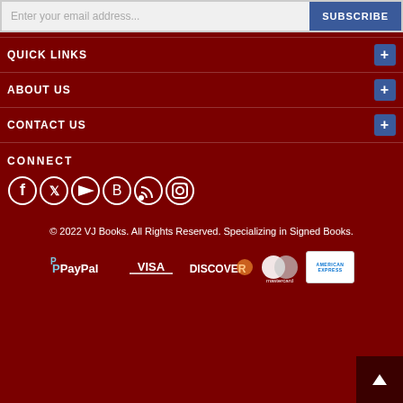Enter your email address... SUBSCRIBE
QUICK LINKS +
ABOUT US +
CONTACT US +
CONNECT
[Figure (infographic): Social media icons: Facebook, Twitter, YouTube, Blogger, RSS, Instagram]
© 2022 VJ Books. All Rights Reserved. Specializing in Signed Books.
[Figure (infographic): Payment method logos: PayPal, Visa, Discover, Mastercard, American Express]